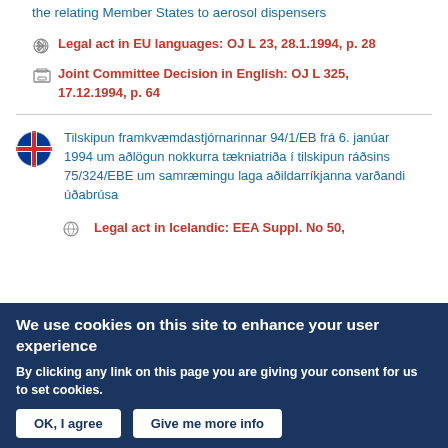the relating Member States to aerosol dispensers
Legal act in EU languages: OJ L 23, 28.1.1994, p. 28
Joint Committee Decision in English: OJ L 325, 17.12.1994, p. 64
Tilskipun framkvæmdastjórnarinnar 94/1/EB frá 6. janúar 1994 um aðlögun nokkurra tækniatriða í tilskipun ráðsins 75/324/EBE um samræmingu laga aðildarríkjanna varðandi úðabrúsa
Legal act in Icelandic: EEA Suppl. No 50,
We use cookies on this site to enhance your user experience
By clicking any link on this page you are giving your consent for us to set cookies.